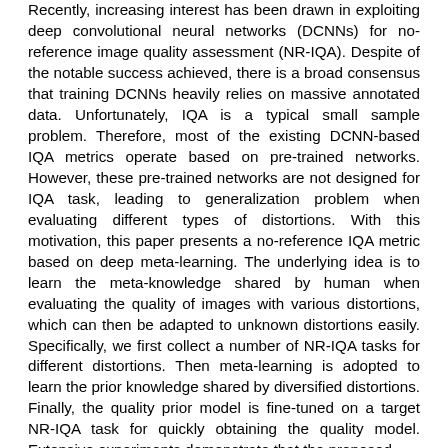Recently, increasing interest has been drawn in exploiting deep convolutional neural networks (DCNNs) for no-reference image quality assessment (NR-IQA). Despite of the notable success achieved, there is a broad consensus that training DCNNs heavily relies on massive annotated data. Unfortunately, IQA is a typical small sample problem. Therefore, most of the existing DCNN-based IQA metrics operate based on pre-trained networks. However, these pre-trained networks are not designed for IQA task, leading to generalization problem when evaluating different types of distortions. With this motivation, this paper presents a no-reference IQA metric based on deep meta-learning. The underlying idea is to learn the meta-knowledge shared by human when evaluating the quality of images with various distortions, which can then be adapted to unknown distortions easily. Specifically, we first collect a number of NR-IQA tasks for different distortions. Then meta-learning is adopted to learn the prior knowledge shared by diversified distortions. Finally, the quality prior model is fine-tuned on a target NR-IQA task for quickly obtaining the quality model. Extensive experiments demonstrate that the proposed